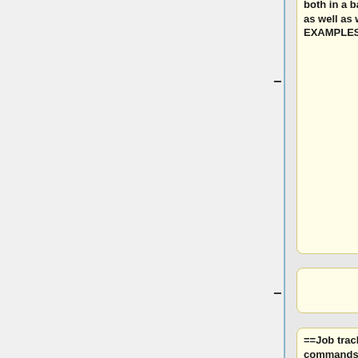both in a batch script, at the shell level, as well as within a program (see the EXAMPLES subsection).
==Job tracking and control commands==
<pre>
bjobs [-u all or user_name] [[-l] job_id]   # displays job information per user(s) or job(s)